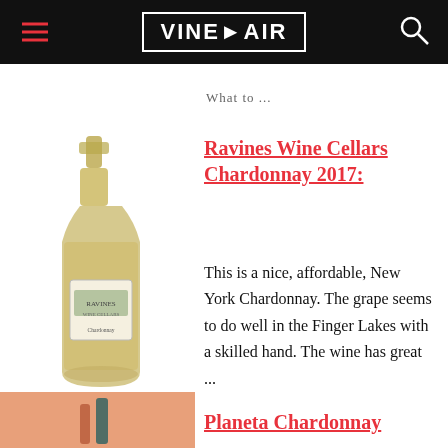VinePair
What to ...
Ravines Wine Cellars Chardonnay 2017:
[Figure (photo): A bottle of Ravines Wine Cellars Chardonnay 2017 wine]
This is a nice, affordable, New York Chardonnay. The grape seems to do well in the Finger Lakes with a skilled hand. The wine has great ...
[Figure (photo): Planeta Chardonnay wine bottle on peach/orange background]
Planeta Chardonnay